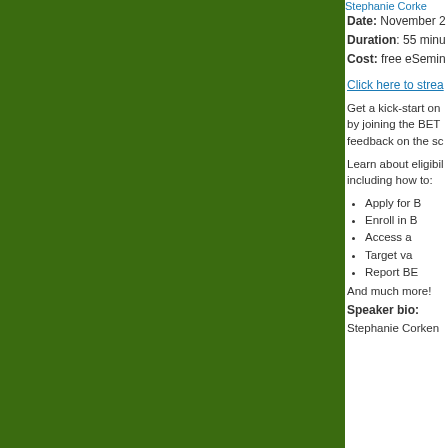[Figure (photo): Photo of Stephanie Corken (partially visible, cropped at right edge)]
Date: November 2...
Duration: 55 minu...
Cost: free eSeminar...
Click here to stream...
Get a kick-start on ... by joining the BETA... feedback on the sc...
Learn about eligibili... including how to:
Apply for B...
Enroll in B...
Access a...
Target va...
Report BE...
And much more!
Speaker bio:
Stephanie Corken...